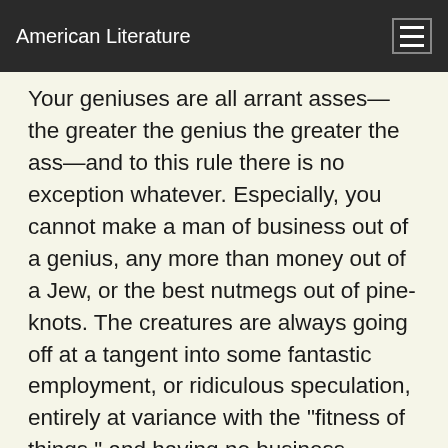American Literature
Your geniuses are all arrant asses—the greater the genius the greater the ass—and to this rule there is no exception whatever. Especially, you cannot make a man of business out of a genius, any more than money out of a Jew, or the best nutmegs out of pine-knots. The creatures are always going off at a tangent into some fantastic employment, or ridiculous speculation, entirely at variance with the "fitness of things," and having no business whatever to be considered as a business at all. Thus you may tell these characters immediately by the nature of their occupations. If you ever perceive a man setting up as a merchant or a manufacturer, or going into the matter at a bona or a lover of the